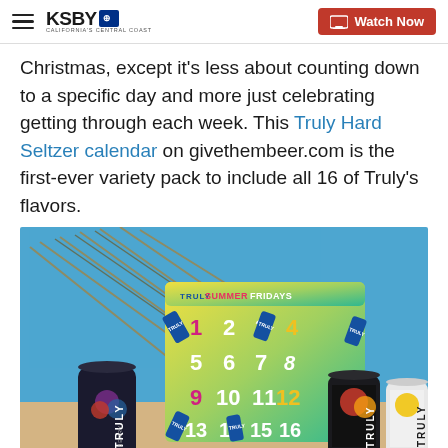KSBY ABC | Watch Now
Christmas, except it's less about counting down to a specific day and more just celebrating getting through each week. This Truly Hard Seltzer calendar on givethembeer.com is the first-ever variety pack to include all 16 of Truly's flavors.
[Figure (photo): Photo of the Truly Hard Seltzer Summer Fridays advent-style calendar showing numbered doors 1-16 on a colorful yellow-to-green gradient box, surrounded by Truly hard seltzer cans (Wild Berry, and other flavors) on a sandy surface with a blue background and palm frond decorations.]